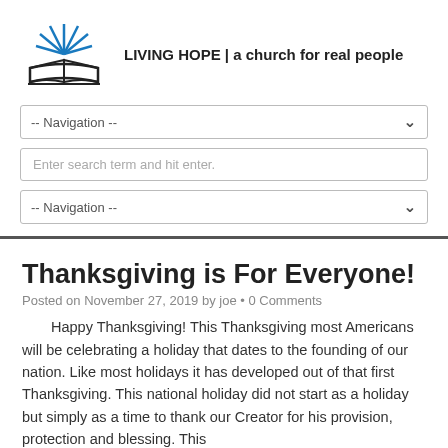[Figure (logo): Living Hope church logo: open book with rays/sunburst above in blue, book outline in black]
LIVING HOPE | a church for real people
-- Navigation --
Enter search term and hit enter.
-- Navigation --
Thanksgiving is For Everyone!
Posted on November 27, 2019 by joe • 0 Comments
Happy Thanksgiving! This Thanksgiving most Americans will be celebrating a holiday that dates to the founding of our nation. Like most holidays it has developed out of that first Thanksgiving. This national holiday did not start as a holiday but simply as a time to thank our Creator for his provision, protection and blessing. This